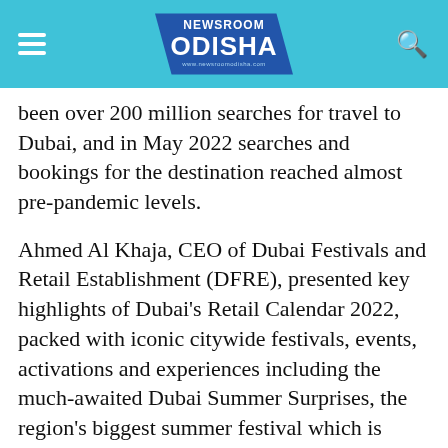NEWSROOM ODISHA
been over 200 million searches for travel to Dubai, and in May 2022 searches and bookings for the destination reached almost pre-pandemic levels.
Ahmed Al Khaja, CEO of Dubai Festivals and Retail Establishment (DFRE), presented key highlights of Dubai's Retail Calendar 2022, packed with iconic citywide festivals, events, activations and experiences including the much-awaited Dubai Summer Surprises, the region's biggest summer festival which is celebrating its 25th edition this year, from July 1 to September 4, as well as next month's Eid-al-Adha celebrations and the Dubai Fitness Challenge, which kicks off in October.